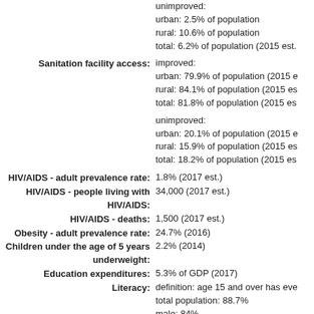unimproved:
urban: 2.5% of population
rural: 10.6% of population
total: 6.2% of population (2015 est.
Sanitation facility access: improved:
urban: 79.9% of population (2015 e
rural: 84.1% of population (2015 es
total: 81.8% of population (2015 es
unimproved:
urban: 20.1% of population (2015 e
rural: 15.9% of population (2015 es
total: 18.2% of population (2015 es
HIV/AIDS - adult prevalence rate: 1.8% (2017 est.)
HIV/AIDS - people living with HIV/AIDS: 34,000 (2017 est.)
HIV/AIDS - deaths: 1,500 (2017 est.)
Obesity - adult prevalence rate: 24.7% (2016)
Children under the age of 5 years underweight: 2.2% (2014)
Education expenditures: 5.3% of GDP (2017)
Literacy: definition: age 15 and over has eve
total population: 88.7%
male: 84%
female: 93.1% (2015 est.) Unempl
^Back to Top
Government